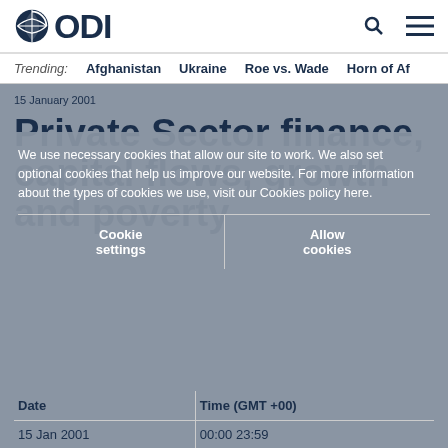ODI
Trending: Afghanistan  Ukraine  Roe vs. Wade  Horn of Af…
15 January 2001
Private Sector finance, capital flows, growth and poverty
We use necessary cookies that allow our site to work. We also set optional cookies that help us improve our website. For more information about the types of cookies we use, visit our Cookies policy here.
Cookie settings    Allow cookies
| Date | Time (GMT +00) |
| --- | --- |
| 15 Jan 2001 | 00:00 23:59 |